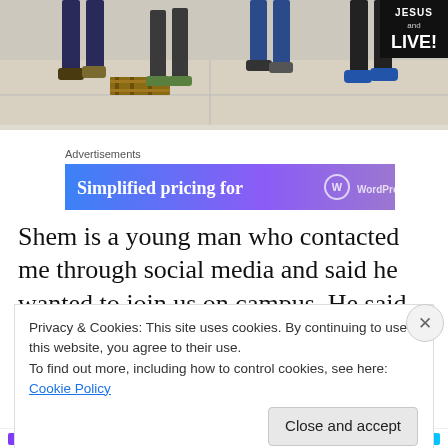[Figure (photo): Photo of people's legs/feet standing on a concrete surface, one person standing on a wooden pallet. A sign in the top right reads 'JESUS and LIVE!']
Advertisements
[Figure (screenshot): Advertisement banner: 'Simplified pricing for' with WordPress.com logo on a blue-to-purple gradient background]
Shem is a young man who contacted me through social media and said he wanted to join us on campus. He said
Privacy & Cookies: This site uses cookies. By continuing to use this website, you agree to their use.
To find out more, including how to control cookies, see here: Cookie Policy
Close and accept